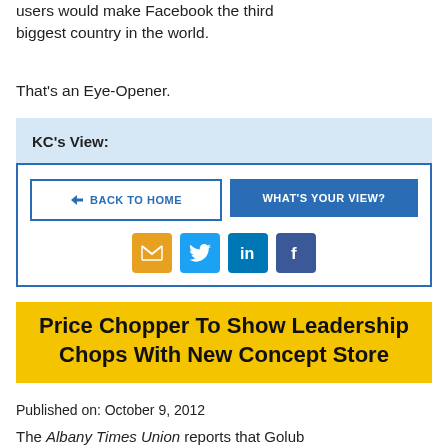users would make Facebook the third biggest country in the world.
That's an Eye-Opener.
KC's View:
[Figure (infographic): Navigation buttons: BACK TO HOME and WHAT'S YOUR VIEW?, plus social share icons for email, Twitter, LinkedIn, and Facebook]
Price Chopper To Show Leadership Chops With New Concept Store
Published on: October 9, 2012
The Albany Times Union reports that Golub Corp.-owned Price Chopper plans to build a